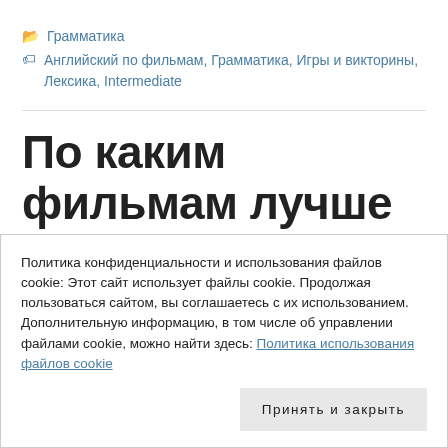📁 Грамматика
🏷 Английский по фильмам, Грамматика, Игры и викторины, Лексика, Intermediate
По каким фильмам лучше учить английский язык
Политика конфиденциальности и использования файлов cookie: Этот сайт использует файлы cookie. Продолжая пользоваться сайтом, вы соглашаетесь с их использованием. Дополнительную информацию, в том числе об управлении файлами cookie, можно найти здесь: Политика использования файлов cookie
Принять и закрыть